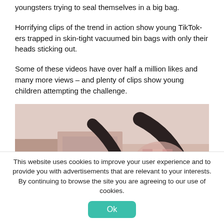youngsters trying to seal themselves in a big bag.
Horrifying clips of the trend in action show young TikTokers trapped in skin-tight vacuumed bin bags with only their heads sticking out.
Some of these videos have over half a million likes and many more views – and plenty of clips show young children attempting the challenge.
[Figure (photo): Screenshot from a TikTok video showing a person in a vacuumed bin bag, blurred face visible, pinkish-beige tones, dark shapes in background.]
This website uses cookies to improve your user experience and to provide you with advertisements that are relevant to your interests. By continuing to browse the site you are agreeing to our use of cookies.